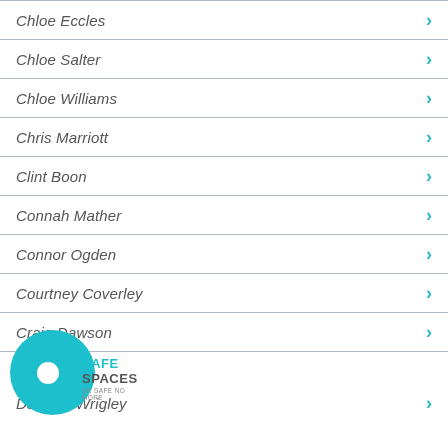Chloe Eccles
Chloe Salter
Chloe Williams
Chris Marriott
Clint Boon
Connah Mather
Connor Ogden
Courtney Coverley
Craig Dawson
Danielle Wrigley
[Figure (logo): Safe Spaces UK Safe No More logo - teal circle with white dot and text]